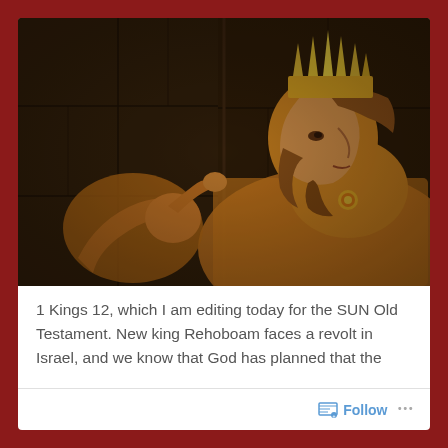[Figure (illustration): An aged, dark-toned painting or engraving depicting a crowned king (wearing a golden crown with spikes) shown in profile facing left, with another figure in the lower left appearing to kneel or bow before him. The artwork has warm amber and brown tones against a dark stone-like background. The style suggests a historical or biblical illustration.]
1 Kings 12, which I am editing today for the SUN Old Testament. New king Rehoboam faces a revolt in Israel, and we know that God has planned that the
Follow ...